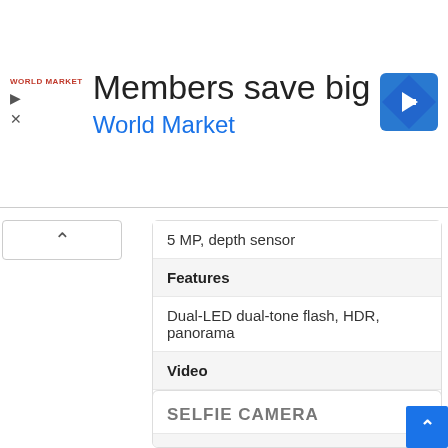[Figure (infographic): World Market advertisement banner: 'Members save big / World Market' with logo and navigation icon]
5 MP, depth sensor
Features
Dual-LED dual-tone flash, HDR, panorama
Video
1080p@30fps, 720p@120fps
SELFIE CAMERA
Single
5 MP, f/2.0
Video